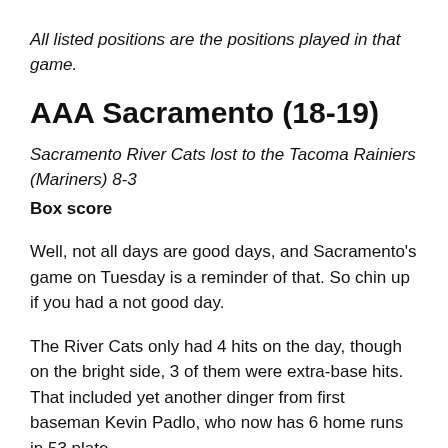All listed positions are the positions played in that game.
AAA Sacramento (18-19)
Sacramento River Cats lost to the Tacoma Rainiers (Mariners) 8-3
Box score
Well, not all days are good days, and Sacramento's game on Tuesday is a reminder of that. So chin up if you had a not good day.
The River Cats only had 4 hits on the day, though on the bright side, 3 of them were extra-base hits. That included yet another dinger from first baseman Kevin Padlo, who now has 6 home runs in 53 plate appearances in the Giants' hold for him U...